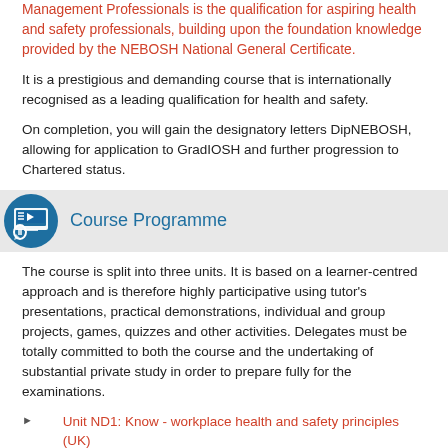Management Professionals is the qualification for aspiring health and safety professionals, building upon the foundation knowledge provided by the NEBOSH National General Certificate.
It is a prestigious and demanding course that is internationally recognised as a leading qualification for health and safety.
On completion, you will gain the designatory letters DipNEBOSH, allowing for application to GradIOSH and further progression to Chartered status.
Course Programme
The course is split into three units. It is based on a learner-centred approach and is therefore highly participative using tutor's presentations, practical demonstrations, individual and group projects, games, quizzes and other activities. Delegates must be totally committed to both the course and the undertaking of substantial private study in order to prepare fully for the examinations.
Unit ND1: Know - workplace health and safety principles (UK)
Uni ND2: Do - controlling workplace health issues (UK)